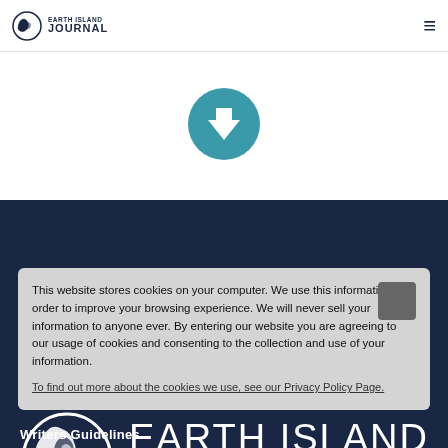Earth Island Journal
[Figure (illustration): Teal circular download arrow button icon]
[Figure (logo): Earth Island Journal large white logo on dark navy background with spiral icon]
This website stores cookies on your computer. We use this information in order to improve your browsing experience. We will never sell your information to anyone ever. By entering our website you are agreeing to our usage of cookies and consenting to the collection and use of your information. To find out more about the cookies we use, see our Privacy Policy Page.
Writers Guidelines